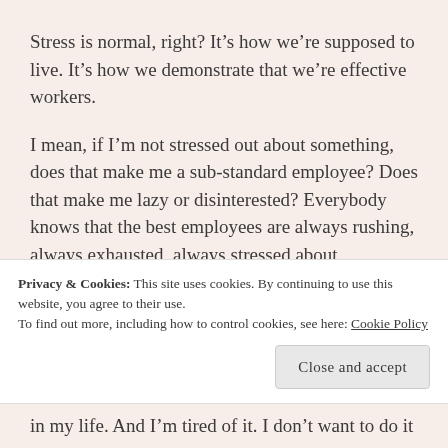Stress is normal, right? It’s how we’re supposed to live. It’s how we demonstrate that we’re effective workers.
I mean, if I’m not stressed out about something, does that make me a sub-standard employee? Does that make me lazy or disinterested? Everybody knows that the best employees are always rushing, always exhausted, always stressed about something, right?
[partially visible / obscured text]
Privacy & Cookies: This site uses cookies. By continuing to use this website, you agree to their use.
To find out more, including how to control cookies, see here: Cookie Policy
in my life. And I’m tired of it. I don’t want to do it